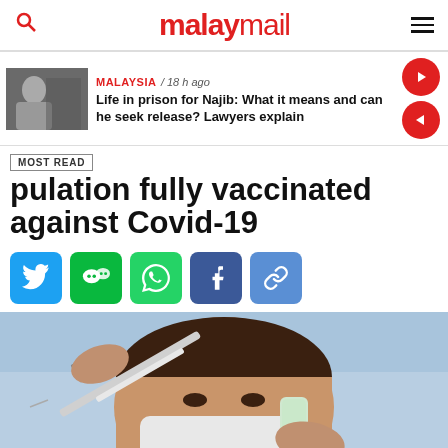malaymail
MALAYSIA / 18 h ago
Life in prison for Najib: What it means and can he seek release? Lawyers explain
population fully vaccinated against Covid-19
[Figure (screenshot): Social sharing buttons: Twitter, WeChat, WhatsApp, Facebook, Link]
[Figure (photo): Healthcare worker in mask preparing vaccine syringe]